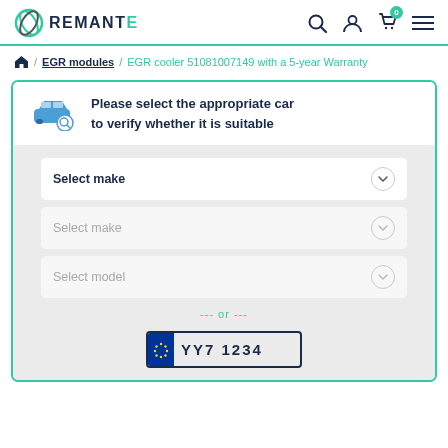[Figure (logo): Remante logo with circular icon and teal/dark blue text]
EGR modules / EGR cooler 51081007149 with a 5-year Warranty
[Figure (screenshot): Car fitment selector UI with dropdowns: Select make, Select make, Select model, and license plate input. Header: Please select the appropriate car to verify whether it is suitable.]
--- or ---
YY7 1234 (partially visible license plate input)